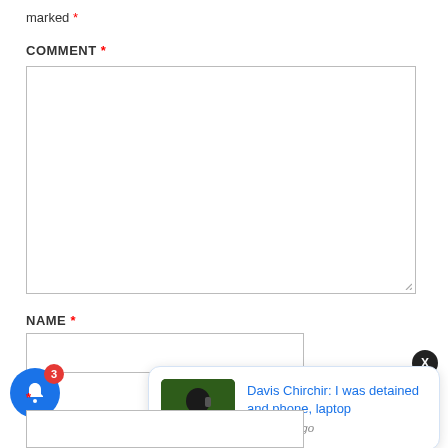marked *
COMMENT *
[Figure (screenshot): Empty comment text area input box with resize handle]
NAME *
[Figure (screenshot): Empty name text input field]
[Figure (infographic): Blue notification bell button with red badge showing number 3]
[Figure (screenshot): Notification popup card showing thumbnail image of a man on phone and text: Davis Chirchir: I was detained and phone, laptop - 11 hours ago]
* (email field label below)
[Figure (screenshot): Empty email text input field]